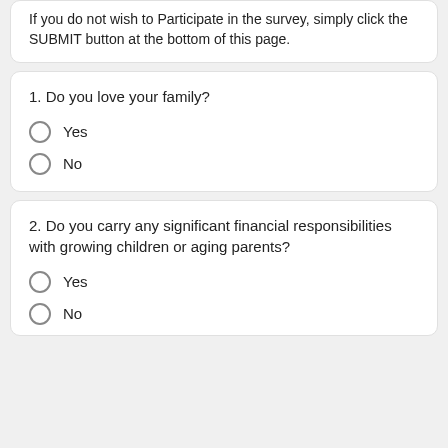If you do not wish to Participate in the survey, simply click the SUBMIT button at the bottom of this page.
1. Do you love your family?
Yes
No
2. Do you carry any significant financial responsibilities with growing children or aging parents?
Yes
No